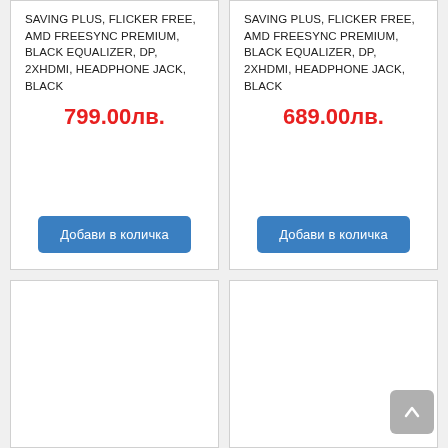SAVING PLUS, FLICKER FREE, AMD FREESYNC PREMIUM, BLACK EQUALIZER, DP, 2XHDMI, HEADPHONE JACK, BLACK
799.00лв.
Добави в количка
SAVING PLUS, FLICKER FREE, AMD FREESYNC PREMIUM, BLACK EQUALIZER, DP, 2XHDMI, HEADPHONE JACK, BLACK
689.00лв.
Добави в количка